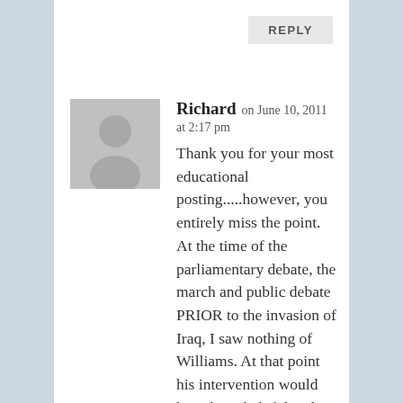REPLY
[Figure (illustration): Generic user avatar placeholder — grey silhouette of a person on a light grey background]
Richard on June 10, 2011 at 2:17 pm
Thank you for your most educational posting.....however, you entirely miss the point. At the time of the parliamentary debate, the march and public debate PRIOR to the invasion of Iraq, I saw nothing of Williams. At that point his intervention would have been helpful and